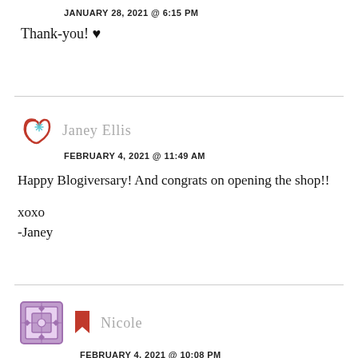JANUARY 28, 2021 @ 6:15 PM
Thank-you! ♥
Janey Ellis
FEBRUARY 4, 2021 @ 11:49 AM
Happy Blogiversary! And congrats on opening the shop!!
xoxo
-Janey
Nicole
FEBRUARY 4, 2021 @ 10:08 PM
Thank-you so much! ♥